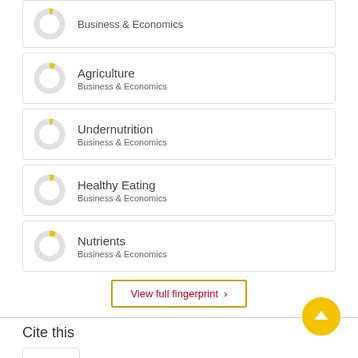Business & Economics
Agriculture
Business & Economics
Undernutrition
Business & Economics
Healthy Eating
Business & Economics
Nutrients
Business & Economics
View full fingerprint >
Cite this